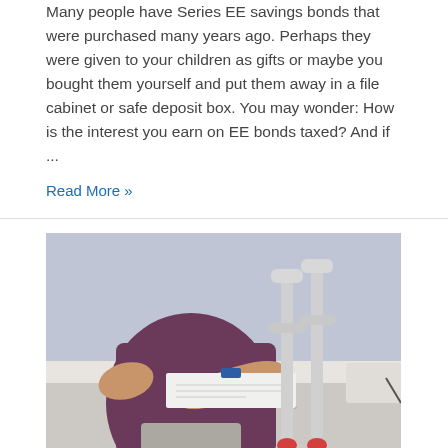Many people have Series EE savings bonds that were purchased many years ago. Perhaps they were given to your children as gifts or maybe you bought them yourself and put them away in a file cabinet or safe deposit box. You may wonder: How is the interest you earn on EE bonds taxed? And if ...
Read More »
[Figure (photo): Person in a maroon/purple t-shirt sitting at a white desk writing on a clipboard, with grey crutches visible in the foreground on the right side]
Disabi...